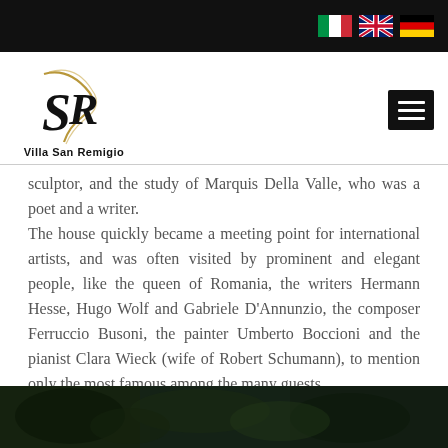Villa San Remigio – header with flag icons and navigation
[Figure (logo): Villa San Remigio logo with stylized SR monogram in black and gold]
sculptor, and the study of Marquis Della Valle, who was a poet and a writer.
The house quickly became a meeting point for international artists, and was often visited by prominent and elegant people, like the queen of Romania, the writers Hermann Hesse, Hugo Wolf and Gabriele D'Annunzio, the composer Ferruccio Busoni, the painter Umberto Boccioni and the pianist Clara Wieck (wife of Robert Schumann), to mention only the most famous among the many guests.
[Figure (photo): Dark photograph strip showing artistic imagery at the bottom of the page]